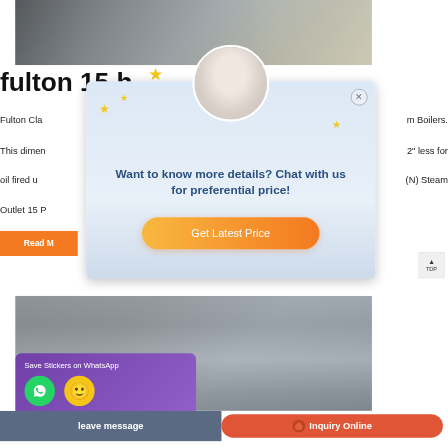[Figure (photo): Industrial boiler/machinery equipment photo at top of page]
fulton 15 h...
Fulton Cla... m Boilers. This dimen... 2" less for oil fired u... (N) Steam Outlet 15 P...
[Figure (screenshot): Chat popup overlay with customer service agent avatar, stars decoration, message 'Want to know more details? Chat with us for preferential price!' and 'Get Latest Price' button]
[Figure (photo): Interior industrial boiler room photo at bottom of page]
[Figure (screenshot): WhatsApp sticker save banner with purple background showing WhatsApp and emoji icons]
leave message
Inquiry Online